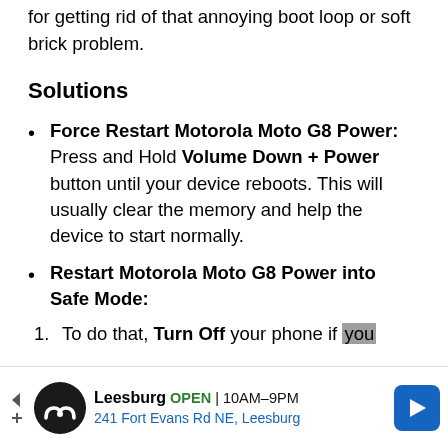for getting rid of that annoying boot loop or soft brick problem.
Solutions
Force Restart Motorola Moto G8 Power: Press and Hold Volume Down + Power button until your device reboots. This will usually clear the memory and help the device to start normally.
Restart Motorola Moto G8 Power into Safe Mode:
To do that, Turn Off your phone if you
[Figure (other): Advertisement banner for Leesburg store showing logo, OPEN status, hours 10AM-9PM, address 241 Fort Evans Rd NE Leesburg, and navigation arrow icon]